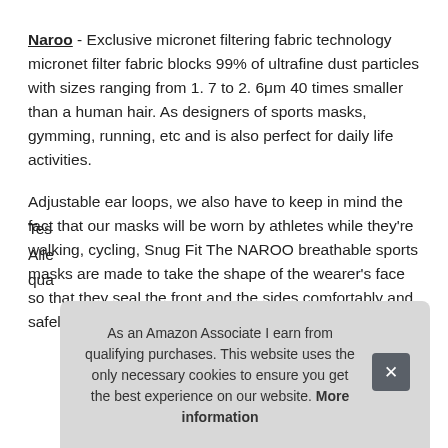Naroo - Exclusive micronet filtering fabric technology micronet filter fabric blocks 99% of ultrafine dust particles with sizes ranging from 1. 7 to 2. 6μm 40 times smaller than a human hair. As designers of sports masks, gymming, running, etc and is also perfect for daily life activities.
Adjustable ear loops, we also have to keep in mind the fact that our masks will be worn by athletes while they're walking, cycling, Snug Fit The NAROO breathable sports masks are made to take the shape of the wearer's face so that they seal the front and the sides comfortably and safely.
More information
Tes
Alle
qua
As an Amazon Associate I earn from qualifying purchases. This website uses the only necessary cookies to ensure you get the best experience on our website. More information